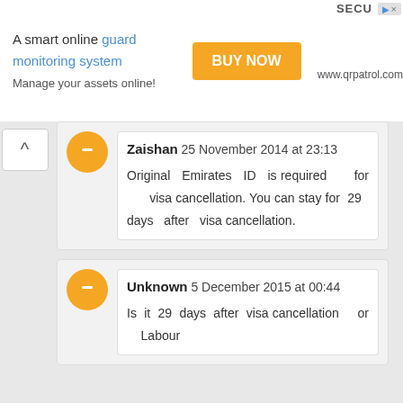[Figure (screenshot): Advertisement banner: 'A smart online guard monitoring system - BUY NOW - Manage your assets online! www.qrpatrol.com' with a person in security uniform on the right and SECU text visible]
Zaishan 25 November 2014 at 23:13

Original Emirates ID is required for visa cancellation. You can stay for 29 days after visa cancellation.
Unknown 5 December 2015 at 00:44

Is it 29 days after visa cancellation or Labour